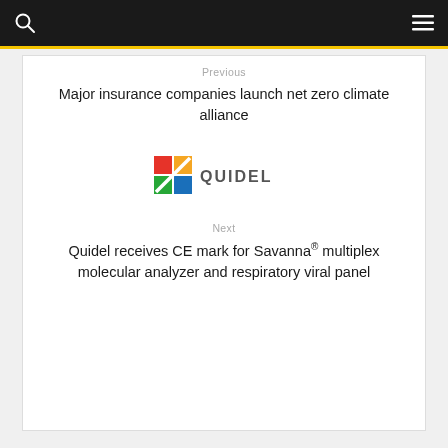Previous
Major insurance companies launch net zero climate alliance
[Figure (logo): Quidel corporation logo — colorful Q mark followed by QUIDEL text]
Next
Quidel receives CE mark for Savanna® multiplex molecular analyzer and respiratory viral panel